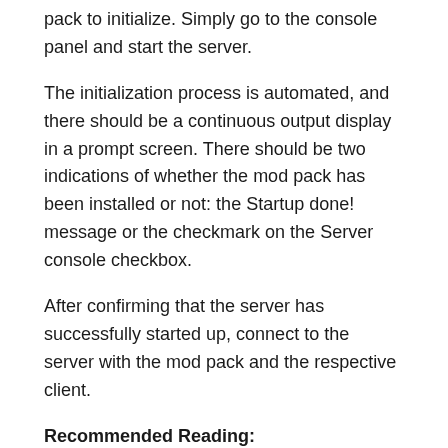pack to initialize. Simply go to the console panel and start the server.
The initialization process is automated, and there should be a continuous output display in a prompt screen. There should be two indications of whether the mod pack has been installed or not: the Startup done! message or the checkmark on the Server console checkbox.
After confirming that the server has successfully started up, connect to the server with the mod pack and the respective client.
Recommended Reading: Minecraft Light Up Potion Bottle
How To Make A Minecraft Server